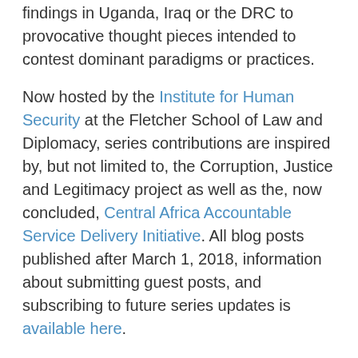findings in Uganda, Iraq or the DRC to provocative thought pieces intended to contest dominant paradigms or practices.
Now hosted by the Institute for Human Security at the Fletcher School of Law and Diplomacy, series contributions are inspired by, but not limited to, the Corruption, Justice and Legitimacy project as well as the, now concluded, Central Africa Accountable Service Delivery Initiative. All blog posts published after March 1, 2018, information about submitting guest posts, and subscribing to future series updates is available here.
To receive blog posts on other topics from CDA subscribe here. You may contact feedback@cdacollaborative.org if you are interested in submitting a guest post on the latest work in the fields of accountability and feedback loops.